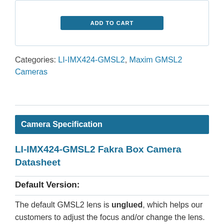[Figure (screenshot): A button labeled 'ADD TO CART' inside a bordered box at the top of the page]
Categories: LI-IMX424-GMSL2, Maxim GMSL2 Cameras
Camera Specification
LI-IMX424-GMSL2 Fakra Box Camera Datasheet
Default Version:
The default GMSL2 lens is unglued, which helps our customers to adjust the focus and/or change the lens. Therefore, this will